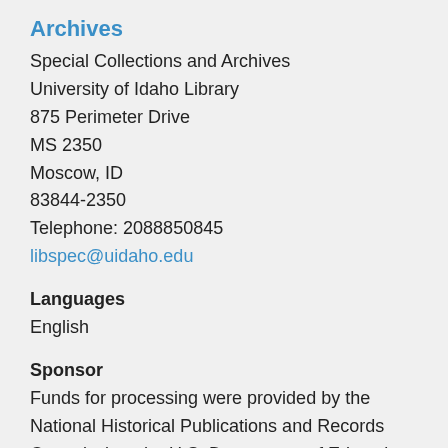Archives
Special Collections and Archives
University of Idaho Library
875 Perimeter Drive
MS 2350
Moscow, ID
83844-2350
Telephone: 2088850845
libspec@uidaho.edu
Languages
English
Sponsor
Funds for processing were provided by the National Historical Publications and Records Commission, the U.S. Department of Education HEA Title II-C "Strengthening Research Library Resources" program, the Library Associates of the University of Idaho and other donors.